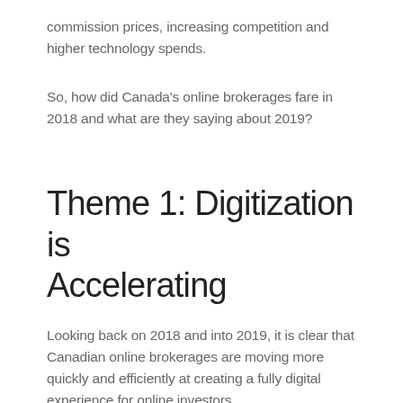commission prices, increasing competition and higher technology spends.
So, how did Canada's online brokerages fare in 2018 and what are they saying about 2019?
Theme 1: Digitization is Accelerating
Looking back on 2018 and into 2019, it is clear that Canadian online brokerages are moving more quickly and efficiently at creating a fully digital experience for online investors.
Online account opening has been a game changer for